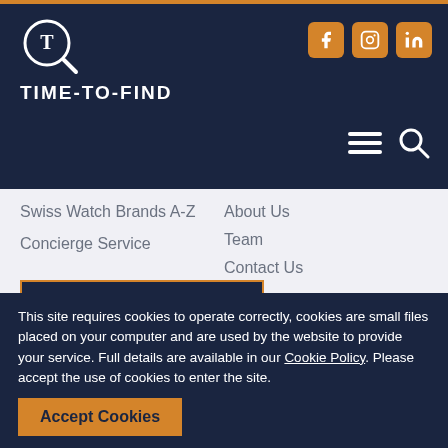TIME-TO-FIND navigation header with logo, social icons (Facebook, Instagram, LinkedIn), hamburger menu and search
Swiss Watch Brands A-Z
Concierge Service
About Us
Team
Contact Us
Blog
Terms & Conditions
Privacy Policy
Brand Owner Information
SUBSCRIBE
Enter your email address
This site requires cookies to operate correctly, cookies are small files placed on your computer and are used by the website to provide your service. Full details are available in our Cookie Policy. Please accept the use of cookies to enter the site.
Accept Cookies